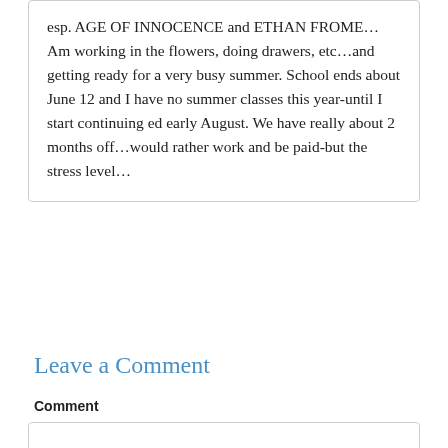esp. AGE OF INNOCENCE and ETHAN FROME… Am working in the flowers, doing drawers, etc…and getting ready for a very busy summer. School ends about June 12 and I have no summer classes this year-until I start continuing ed early August. We have really about 2 months off…would rather work and be paid-but the stress level…
Reply
Leave a Comment
Comment